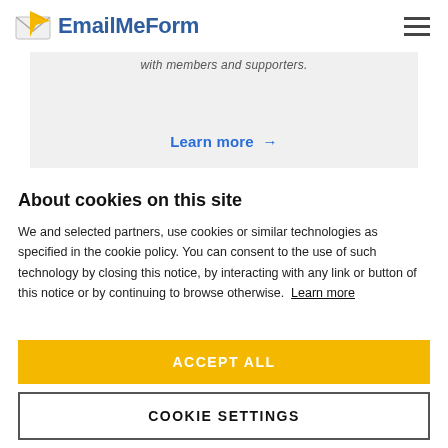EmailMeForm
with members and supporters.
Learn more →
About cookies on this site
We and selected partners, use cookies or similar technologies as specified in the cookie policy. You can consent to the use of such technology by closing this notice, by interacting with any link or button of this notice or by continuing to browse otherwise. Learn more
ACCEPT ALL
COOKIE SETTINGS